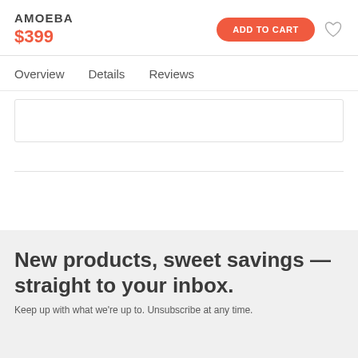AMOEBA
$399
ADD TO CART
Overview   Details   Reviews
[Figure (other): Empty content placeholder box with border]
[Figure (other): Horizontal divider section area 1]
[Figure (other): Horizontal divider section area 2]
New products, sweet savings — straight to your inbox.
Keep up with what we’re up to. Unsubscribe at any time.